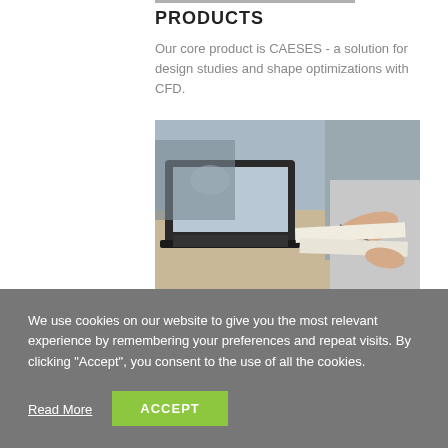PRODUCTS
Our core product is CAESES - a solution for design studies and shape optimizations with CFD.
[Figure (photo): Person writing on documents with a laptop on a desk, collaborative work scene]
COMPANY
FRIENDSHIP SYSTEMS offers expert knowledge in
We use cookies on our website to give you the most relevant experience by remembering your preferences and repeat visits. By clicking "Accept", you consent to the use of all the cookies.
Read More
ACCEPT